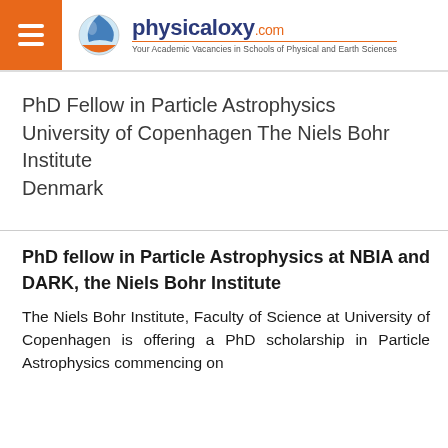physicaloxy.com — Your Academic Vacancies in Schools of Physical and Earth Sciences
PhD Fellow in Particle Astrophysics University of Copenhagen The Niels Bohr Institute Denmark
PhD fellow in Particle Astrophysics at NBIA and DARK, the Niels Bohr Institute
The Niels Bohr Institute, Faculty of Science at University of Copenhagen is offering a PhD scholarship in Particle Astrophysics commencing on